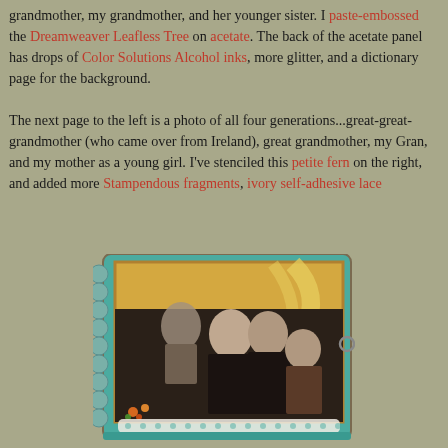grandmother, my grandmother, and her younger sister. I paste-embossed the Dreamweaver Leafless Tree on acetate. The back of the acetate panel has drops of Color Solutions Alcohol inks, more glitter, and a dictionary page for the background.

The next page to the left is a photo of all four generations...great-great-grandmother (who came over from Ireland), great grandmother, my Gran, and my mother as a young girl. I've stenciled this petite fern on the right, and added more Stampendous fragments, ivory self-adhesive lace
[Figure (photo): A scrapbook page with a vintage photo of four generations of women — great-great-grandmother, great grandmother, grandmother (Gran), and mother as a young girl — mounted on a teal/turquoise decorated background with a scalloped left border, yellow fern stencil, lace trim, and small orange flowers.]